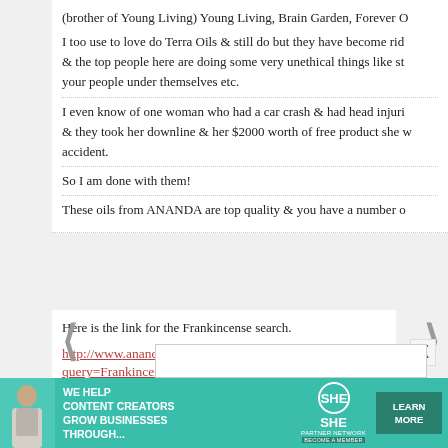(brother of Young Living) Young Living, Brain Garden, Forever O
I too use to love do Terra Oils & still do but they have become rid & the top people here are doing some very unethical things like st your people under themselves etc.
I even know of one woman who had a car crash & had head injuri & they took her downline & her $2000 worth of free product she w accident.
So I am done with them!
These oils from ANANDA are top quality & you have a number o
Here is the link for the Frankincense search.
http://www.anandaapothecary.com/.search?query=Frankincense&results_page=http%3A%2F%2Fwww.anand
enJOY ~ Peace & blessings el Ma Ra
REPLY
[Figure (infographic): Advertisement banner: teal/green background with woman photo, 'WE HELP CONTENT CREATORS GROW BUSINESSES THROUGH...' text, SHE Partner Network logo, and LEARN MORE button]